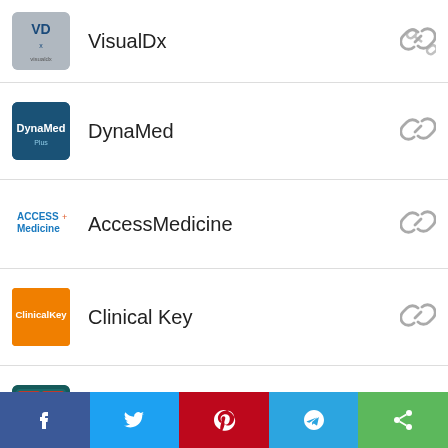VisualDx
DynaMed
AccessMedicine
Clinical Key
SanfordGuide
[Figure (other): Social sharing footer bar with Facebook, Twitter, Pinterest, Telegram, and Share buttons]